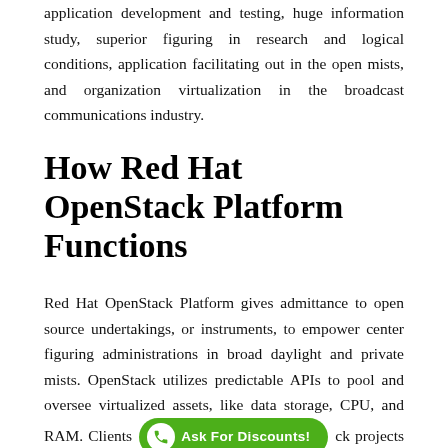application development and testing, huge information study, superior figuring in research and logical conditions, application facilitating out in the open mists, and organization virtualization in the broadcast communications industry.
How Red Hat OpenStack Platform Functions
Red Hat OpenStack Platform gives admittance to open source undertakings, or instruments, to empower center figuring administrations in broad daylight and private mists. OpenStack utilizes predictable APIs to pool and oversee virtualized assets, like data storage, CPU, and RAM. Clients s[Ask For Discounts!]ck projects in a particular style contingent upon the assets they need to virtualized and